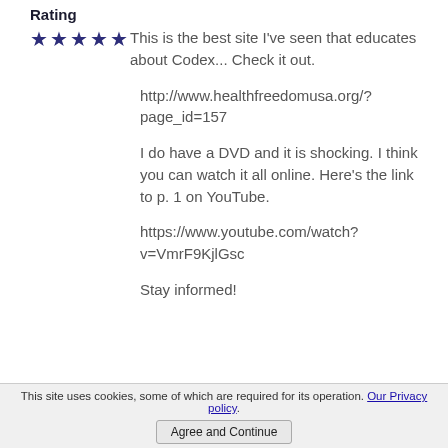Rating
★★★★★  This is the best site I've seen that educates about Codex... Check it out.
http://www.healthfreedomusa.org/?page_id=157
I do have a DVD and it is shocking. I think you can watch it all online. Here's the link to p. 1 on YouTube.
https://www.youtube.com/watch?v=VmrF9KjlGsc
Stay informed!
This site uses cookies, some of which are required for its operation. Our Privacy policy.
Agree and Continue